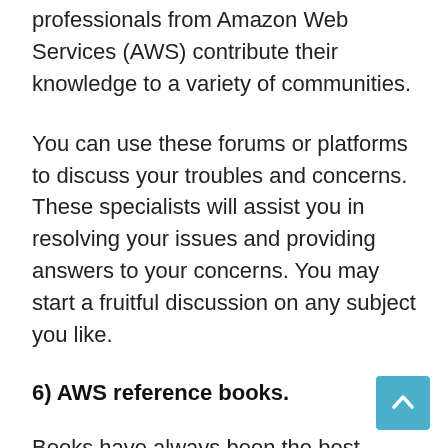professionals from Amazon Web Services (AWS) contribute their knowledge to a variety of communities.
You can use these forums or platforms to discuss your troubles and concerns. These specialists will assist you in resolving your issues and providing answers to your concerns. You may start a fruitful discussion on any subject you like.
6) AWS reference books.
Books have always been the best companions when it comes to knowledge. The material of the books is structured in such a way that readers can comprehend the broad notion of the subject. These textbooks can be used to